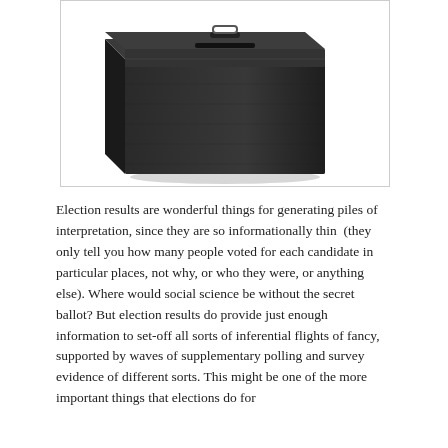[Figure (photo): A black ballot box or secure voting/collection box, photographed against a white background. The box is dark gray/black with a slot on top and appears to be made of metal or hard plastic.]
Election results are wonderful things for generating piles of interpretation, since they are so informationally thin  (they only tell you how many people voted for each candidate in particular places, not why, or who they were, or anything else). Where would social science be without the secret ballot? But election results do provide just enough information to set-off all sorts of inferential flights of fancy, supported by waves of supplementary polling and survey evidence of different sorts. This might be one of the more important things that elections do for